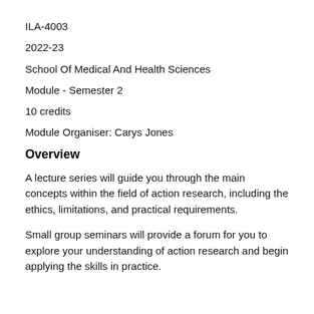ILA-4003
2022-23
School Of Medical And Health Sciences
Module - Semester 2
10 credits
Module Organiser: Carys Jones
Overview
A lecture series will guide you through the main concepts within the field of action research, including the ethics, limitations, and practical requirements.
Small group seminars will provide a forum for you to explore your understanding of action research and begin applying the skills in practice.